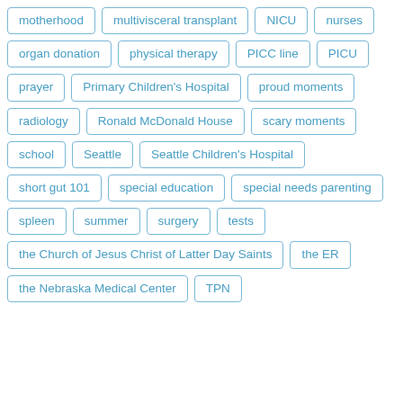motherhood
multivisceral transplant
NICU
nurses
organ donation
physical therapy
PICC line
PICU
prayer
Primary Children's Hospital
proud moments
radiology
Ronald McDonald House
scary moments
school
Seattle
Seattle Children's Hospital
short gut 101
special education
special needs parenting
spleen
summer
surgery
tests
the Church of Jesus Christ of Latter Day Saints
the ER
the Nebraska Medical Center
TPN